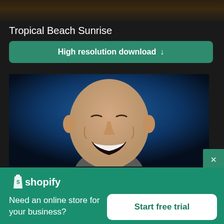[Figure (photo): Top strip showing dark mountain/landscape silhouette at very top of page]
Tropical Beach Sunrise
High resolution download ↓
[Figure (photo): Bald man laughing with eyes closed against a dark blue background]
×
[Figure (logo): Shopify logo — white shopping bag icon with 'S' and white text 'shopify']
Need an online store for your business?
Start free trial